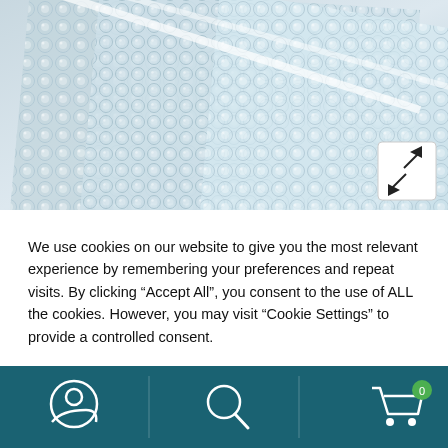[Figure (photo): Bubble wrap packaging material sheets, transparent plastic with air bubbles, overlapping at various angles on a light background. An expand/fullscreen icon button is visible in the lower right corner of the image.]
We use cookies on our website to give you the most relevant experience by remembering your preferences and repeat visits. By clicking “Accept All”, you consent to the use of ALL the cookies. However, you may visit “Cookie Settings” to provide a controlled consent.
Cookie Settings
Accept All
[Figure (other): Bottom navigation bar with three icons: a user/account icon, a search/magnifying glass icon, and a shopping cart icon with badge showing 0.]